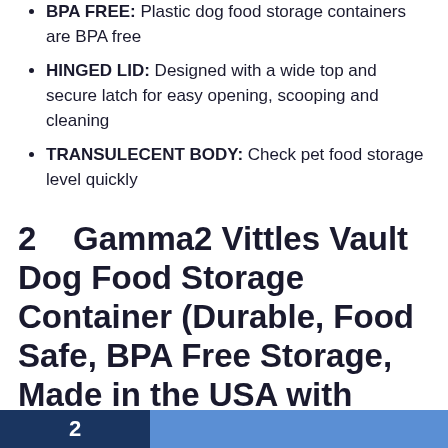BPA FREE: Plastic dog food storage containers are BPA free
HINGED LID: Designed with a wide top and secure latch for easy opening, scooping and cleaning
TRANSULECENT BODY: Check pet food storage level quickly
2    Gamma2 Vittles Vault Dog Food Storage Container (Durable, Food Safe, BPA Free Storage, Made in the USA with Recycled Materials)Holds up to 15 pounds